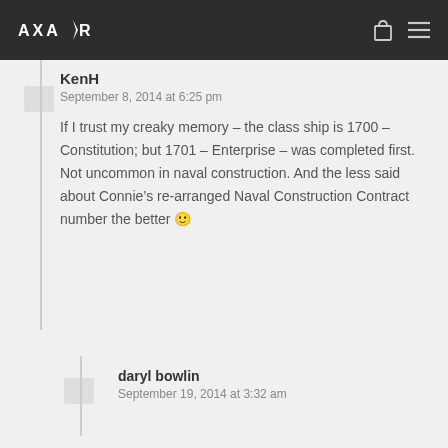AXANR
KenH
September 8, 2014 at 6:25 pm
If I trust my creaky memory – the class ship is 1700 – Constitution; but 1701 – Enterprise – was completed first. Not uncommon in naval construction. And the less said about Connie's re-arranged Naval Construction Contract number the better 🙂
daryl bowlin
September 19, 2014 at 3:32 am